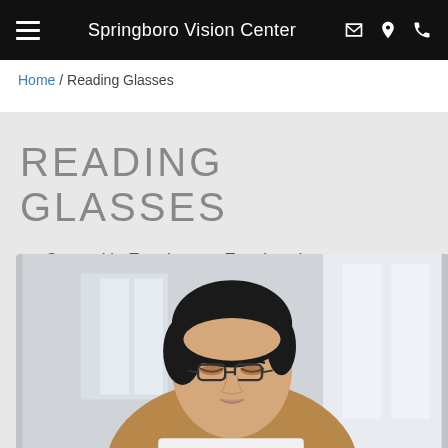Springboro Vision Center
Home / Reading Glasses
READING GLASSES
Created in Eyeglasses, Eyeglass Lenses
[Figure (photo): A middle-aged woman with short dark hair wearing reading glasses, looking down, wearing a tan sweater, in a bright indoor setting.]